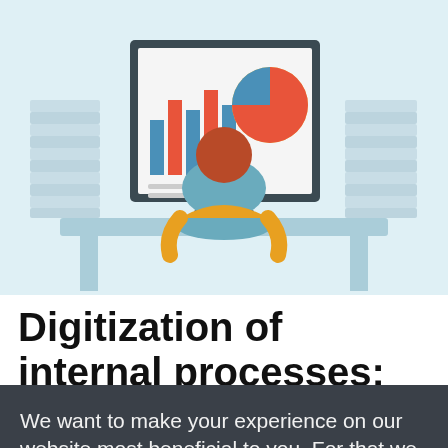[Figure (illustration): Illustration of a person sitting at a desk with a computer monitor showing charts and graphs, surrounded by stacks of paper documents on a light blue background]
Digitization of internal processes: Away with
We want to make your experience on our website most beneficial to you. For that we need your consent with our cookie policy. With that we can recognise you and easily show you the most interesting content.
OK
DECLINE